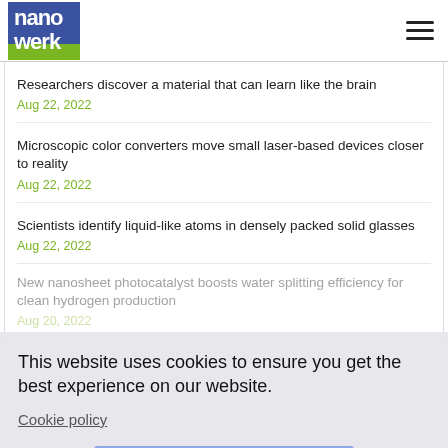nanowerk
Researchers discover a material that can learn like the brain
Aug 22, 2022
Microscopic color converters move small laser-based devices closer to reality
Aug 22, 2022
Scientists identify liquid-like atoms in densely packed solid glasses
Aug 22, 2022
New nanosheet photocatalyst boosts water splitting efficiency for clean hydrogen production
Aug 20, 2022
This website uses cookies to ensure you get the best experience on our website.
Cookie policy
Got it!